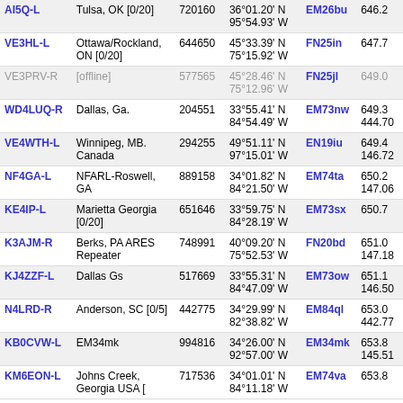| Callsign | Location | Node | Coordinates | Grid | Dist |
| --- | --- | --- | --- | --- | --- |
| AI5Q-L | Tulsa, OK [0/20] | 720160 | 36°01.20' N 95°54.93' W | EM26bu | 646.2 |
| VE3HL-L | Ottawa/Rockland, ON [0/20] | 644650 | 45°33.39' N 75°15.92' W | FN25in | 647.7 |
| VE3PRV-R | [offline] | 577565 | 45°28.46' N 75°12.96' W | FN25jl | 649.0 |
| WD4LUQ-R | Dallas, Ga. | 204551 | 33°55.41' N 84°54.49' W | EM73nw | 649.3 444.70 |
| VE4WTH-L | Winnipeg, MB. Canada | 294255 | 49°51.11' N 97°15.01' W | EN19iu | 649.4 146.72 |
| NF4GA-L | NFARL-Roswell, GA | 889158 | 34°01.82' N 84°21.50' W | EM74ta | 650.2 147.06 |
| KE4IP-L | Marietta Georgia [0/20] | 651646 | 33°59.75' N 84°28.19' W | EM73sx | 650.7 |
| K3AJM-R | Berks, PA ARES Repeater | 748991 | 40°09.20' N 75°52.53' W | FN20bd | 651.0 147.18 |
| KJ4ZZF-L | Dallas Gs | 517669 | 33°55.31' N 84°47.09' W | EM73ow | 651.1 146.50 |
| N4LRD-R | Anderson, SC [0/5] | 442775 | 34°29.99' N 82°38.82' W | EM84ql | 653.0 442.77 |
| KB0CVW-L | EM34mk | 994816 | 34°26.00' N 92°57.00' W | EM34mk | 653.8 145.51 |
| KM6EON-L | Johns Creek, Georgia USA [ | 717536 | 34°01.01' N 84°11.18' W | EM74va | 653.8 |